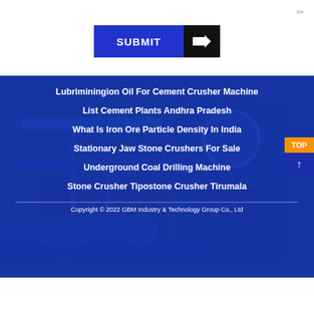[Figure (screenshot): Submit button with blue background and black arrow section on right]
Lubriminingion Oil For Cement Crusher Machine
List Cement Plants Andhra Pradesh
What Is Iron Ore Particle Density In India
Stationary Jaw Stone Crushers For Sale
Underground Coal Drilling Machine
Stone Crusher Tipostone Crusher Tirumala
Copyright © 2022 GBM Industry & Technology Group Co., Ltd